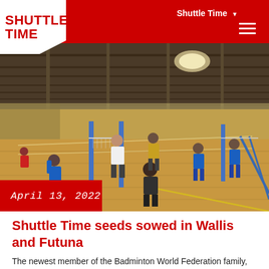Shuttle Time
[Figure (photo): Indoor sports hall with multiple badminton courts set up. Several children and adults are playing badminton. The hall has a high wooden-trussed roof with skylights. Players wear blue and dark uniforms. Blue poles hold up the nets.]
April 13, 2022
Shuttle Time seeds sowed in Wallis and Futuna
The newest member of the Badminton World Federation family, Wallis and Futuna, has started the process of